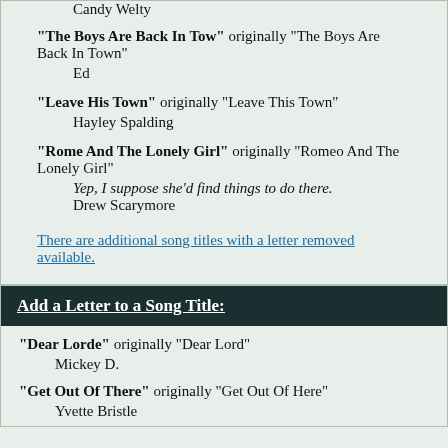Candy Welty
"The Boys Are Back In Tow" originally "The Boys Are Back In Town"
Ed
"Leave His Town" originally "Leave This Town"
Hayley Spalding
"Rome And The Lonely Girl" originally "Romeo And The Lonely Girl"
Yep, I suppose she'd find things to do there.
Drew Scarymore
There are additional song titles with a letter removed available.
Add a Letter to a Song Title:
"Dear Lorde" originally "Dear Lord"
Mickey D.
"Get Out Of There" originally "Get Out Of Here"
Yvette Bristle